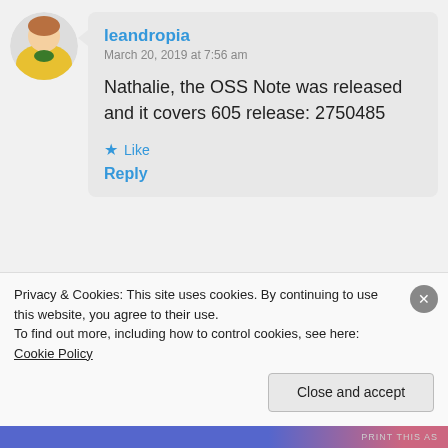[Figure (photo): User avatar of leandropia - person in yellow jersey, circular crop]
leandropia
March 20, 2019 at 7:56 am
Nathalie, the OSS Note was released and it covers 605 release: 2750485
★ Like
Reply
[Figure (logo): User avatar of Aish - diamond/quatrefoil pattern icon with dashed circular border]
Aish
April 9, 2019 at 12:02 am
Hi
Privacy & Cookies: This site uses cookies. By continuing to use this website, you agree to their use.
To find out more, including how to control cookies, see here: Cookie Policy
Close and accept